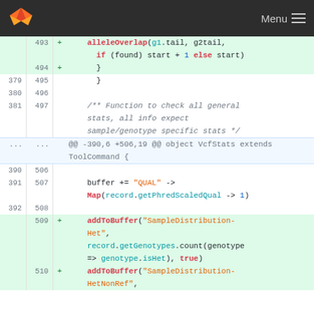GitLab Menu
[Figure (screenshot): Code diff view showing Scala source code changes. Lines 493-510 of a diff showing alleleOverlap, buffer, addToBuffer function calls. Added lines highlighted in green.]